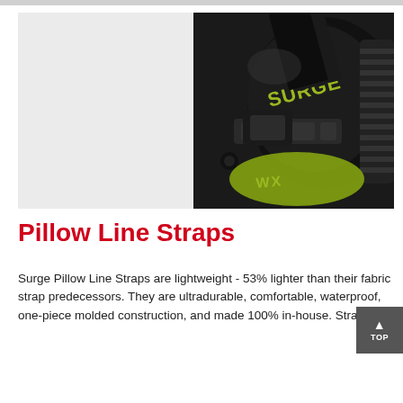[Figure (photo): Close-up photo of a Surge snowboard binding showing black and yellow-green components with the 'SURGE' brand logo visible. The binding mechanism and strap hardware are shown in detail against a light grey/white background.]
Pillow Line Straps
Surge Pillow Line Straps are lightweight - 53% lighter than their fabric strap predecessors. They are ultradurable, comfortable, waterproof, one-piece molded construction, and made 100% in-house. Strap